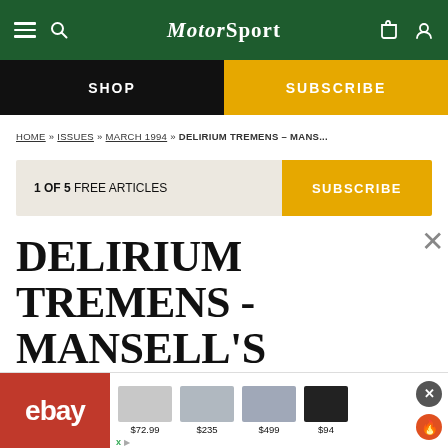MotorSport
SHOP   SUBSCRIBE
HOME » ISSUES » MARCH 1994 » DELIRIUM TREMENS – MANS...
1 OF 5 FREE ARTICLES   SUBSCRIBE
DELIRIUM TREMENS - MANSELL'S RETURN
[Figure (screenshot): eBay advertisement banner showing tools and electronics with prices $72.99, $235, $499, $94]
AU